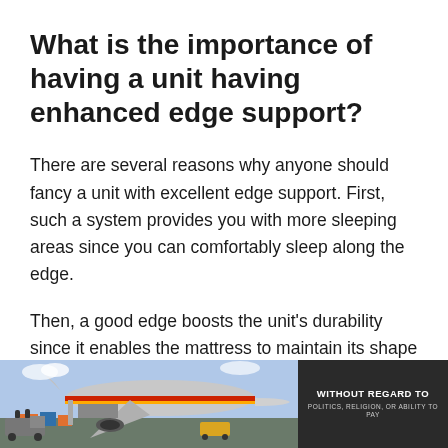What is the importance of having a unit having enhanced edge support?
There are several reasons why anyone should fancy a unit with excellent edge support. First, such a system provides you with more sleeping areas since you can comfortably sleep along the edge.
Then, a good edge boosts the unit's durability since it enables the mattress to maintain its shape for longer. Lastly, enhanced edge support makes it easy to get up from the bed either after sleeping or
[Figure (photo): Advertisement banner showing an airplane being loaded with cargo, with text 'WITHOUT REGARD TO POLITICS, RELIGION, OR ABILITY TO PAY' on a dark background on the right side.]